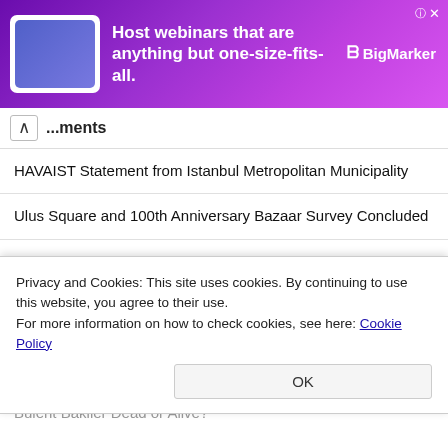[Figure (screenshot): Advertisement banner for BigMarker webinar hosting service with purple gradient background]
...ments
HAVAIST Statement from Istanbul Metropolitan Municipality
Ulus Square and 100th Anniversary Bazaar Survey Concluded
'Environmentally Friendly Farmer Card' Project from Antalya Metropolitan Municipality
When Will BİLSEM Results Be Announced? When are BİLSEM Registrations?
Who is Yavuz Bülent Bakiler and where is he from? Is Yavuz Bülent Bakiler Dead or Alive?
Privacy and Cookies: This site uses cookies. By continuing to use this website, you agree to their use.
For more information on how to check cookies, see here: Cookie Policy
OK